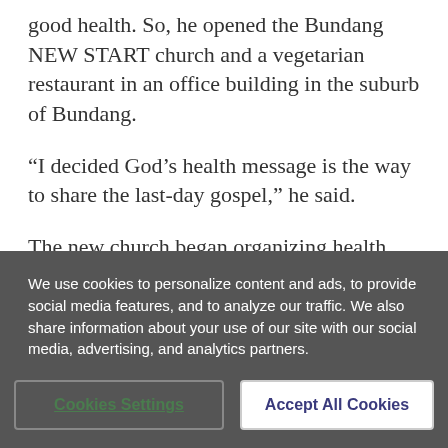good health. So, he opened the Bundang NEW START church and a vegetarian restaurant in an office building in the suburb of Bundang.
“I decided God’s health message is the way to share the last-day gospel,” he said.
The new church began organizing health seminars, cooking classes, and Bible studies.
Among the first things...
We use cookies to personalize content and ads, to provide social media features, and to analyze our traffic. We also share information about your use of our site with our social media, advertising, and analytics partners.
Cookies Settings
Accept All Cookies